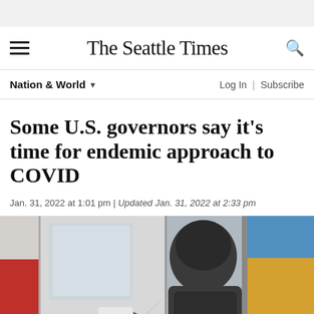The Seattle Times
Nation & World
Some U.S. governors say it’s time for endemic approach to COVID
Jan. 31, 2022 at 1:01 pm | Updated Jan. 31, 2022 at 2:33 pm
[Figure (photo): A person wearing a dark hooded jacket stands near a vehicle. A medical worker wearing blue rubber gloves is visible to the left. There is red and yellow coloring visible in the background.]